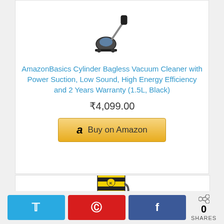[Figure (photo): AmazonBasics cylinder bagless vacuum cleaner product image (stick/canister type, black)]
AmazonBasics Cylinder Bagless Vacuum Cleaner with Power Suction, Low Sound, High Energy Efficiency and 2 Years Warranty (1.5L, Black)
₹4,099.00
Buy on Amazon
[Figure (photo): Yellow industrial wet/dry vacuum cleaner product image]
0 SHARES